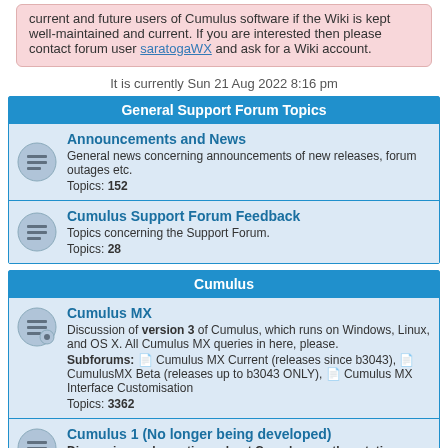current and future users of Cumulus software if the Wiki is kept well-maintained and current. If you are interested then please contact forum user saratogaWX and ask for a Wiki account.
It is currently Sun 21 Aug 2022 8:16 pm
General Support Forum Topics
Announcements and News
General news concerning announcements of new releases, forum outages etc.
Topics: 152
Cumulus Support Forum Feedback
Topics concerning the Support Forum.
Topics: 28
Cumulus
Cumulus MX
Discussion of version 3 of Cumulus, which runs on Windows, Linux, and OS X. All Cumulus MX queries in here, please.
Subforums: Cumulus MX Current (releases since b3043), CumulusMX Beta (releases up to b3043 ONLY), Cumulus MX Interface Customisation
Topics: 3362
Cumulus 1 (No longer being developed)
Discussion and questions about Cumulus weather station software version 1. This section is the main place to get help with Cumulus 1 software developed by Steve Loft that ceased development in November 2014.
Topics: 4007